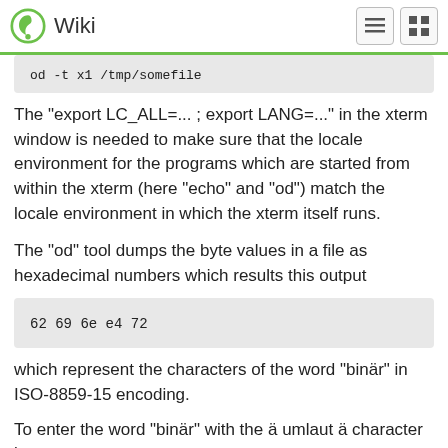Wiki
od -t x1 /tmp/somefile
The "export LC_ALL=... ; export LANG=..." in the xterm window is needed to make sure that the locale environment for the programs which are started from within the xterm (here "echo" and "od") match the locale environment in which the xterm itself runs.
The "od" tool dumps the byte values in a file as hexadecimal numbers which results this output
62 69 6e e4 72
which represent the characters of the word "binär" in ISO-8859-15 encoding.
To enter the word "binär" with the ä umlaut ä character in